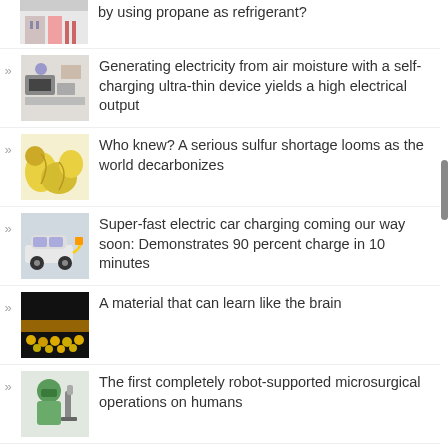by using propane as refrigerant?
Generating electricity from air moisture with a self-charging ultra-thin device yields a high electrical output
Who knew? A serious sulfur shortage looms as the world decarbonizes
Super-fast electric car charging coming our way soon: Demonstrates 90 percent charge in 10 minutes
A material that can learn like the brain
The first completely robot-supported microsurgical operations on humans
A radically new idea for offshore wind turbines